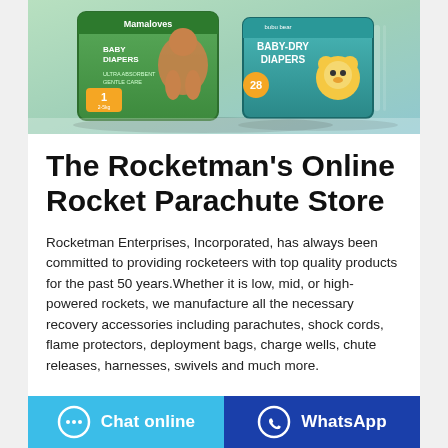[Figure (photo): Product photo showing two baby diaper packages: Mamaloves Baby Diapers (green package with baby) and Bubu Bear Baby-Dry Diapers (teal/green package with cartoon bear character), both displayed on a reflective surface.]
The Rocketman's Online Rocket Parachute Store
Rocketman Enterprises, Incorporated, has always been committed to providing rocketeers with top quality products for the past 50 years.Whether it is low, mid, or high-powered rockets, we manufacture all the necessary recovery accessories including parachutes, shock cords, flame protectors, deployment bags, charge wells, chute releases, harnesses, swivels and much more.
Chat online
WhatsApp